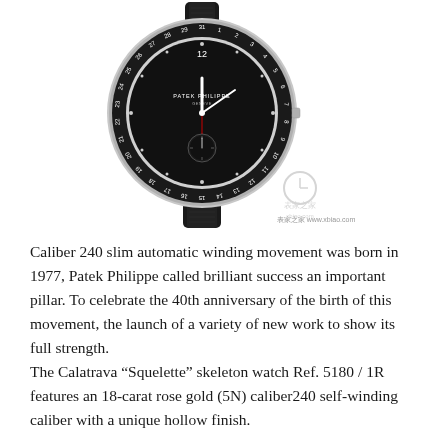[Figure (photo): A Patek Philippe luxury watch with black dial, Arabic numerals date ring, subsidiary seconds dial, and black leather strap. The watch has a silver/steel case. A Chinese watermark from xbiao.com is visible in the lower right of the image.]
Caliber 240 slim automatic winding movement was born in 1977, Patek Philippe called brilliant success an important pillar. To celebrate the 40th anniversary of the birth of this movement, the launch of a variety of new work to show its full strength.
The Calatrava “Squelette” skeleton watch Ref. 5180 / 1R features an 18-carat rose gold (5N) caliber240 self-winding caliber with a unique hollow finish.